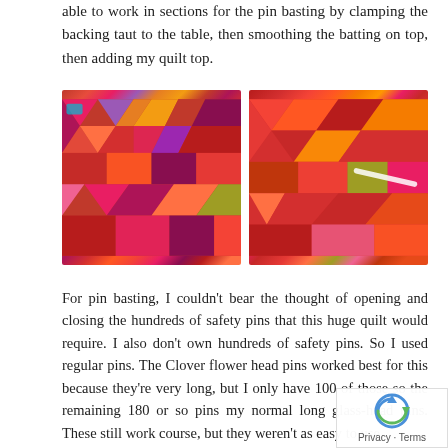able to work in sections for the pin basting by clamping the backing taut to the table, then smoothing the batting on top, then adding my quilt top.
[Figure (photo): Two photos of a colorful patchwork quilt laid out on a table, showing various red, pink, orange, purple and patterned fabric pieces sewn together in a tumbling blocks or pinwheel pattern.]
For pin basting, I couldn't bear the thought of opening and closing the hundreds of safety pins that this huge quilt would require. I also don't own hundreds of safety pins. So I used regular pins. The Clover flower head pins worked best for this because they're very long, but I only have 100 of those so the remaining 180 or so pins my normal long glass-head pins. These still work course, but they weren't as easy to use.